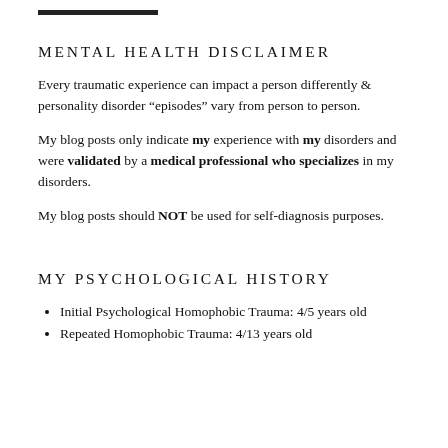MENTAL HEALTH DISCLAIMER
Every traumatic experience can impact a person differently & personality disorder “episodes” vary from person to person.
My blog posts only indicate my experience with my disorders and were validated by a medical professional who specializes in my disorders.
My blog posts should NOT be used for self-diagnosis purposes.
MY PSYCHOLOGICAL HISTORY
Initial Psychological Homophobic Trauma: 4/5 years old
Repeated Homophobic Trauma: 4/13 years old